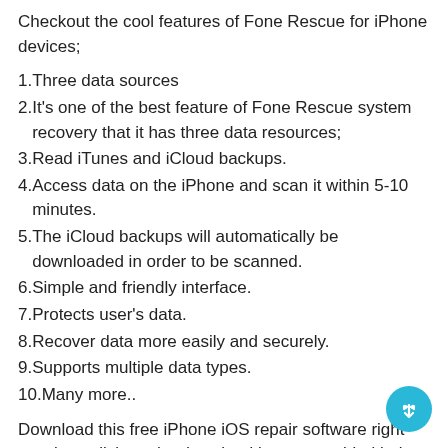Checkout the cool features of Fone Rescue for iPhone devices;
Three data sources
It's one of the best feature of Fone Rescue system recovery that it has three data resources;
Read iTunes and iCloud backups.
Access data on the iPhone and scan it within 5-10 minutes.
The iCloud backups will automatically be downloaded in order to be scanned.
Simple and friendly interface.
Protects user's data.
Recover data more easily and securely.
Supports multiple data types.
Many more..
Download this free iPhone iOS repair software right now by a click on the download button provided below. We have provided here the updated or latest version of Phone